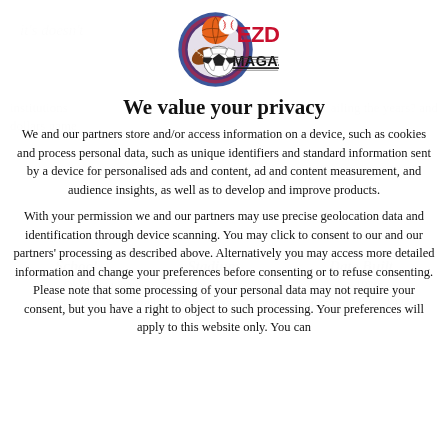[Figure (logo): EZD Magazine logo with sports balls (basketball, baseball, football, soccer ball) and red/black text reading 'EZD MAGAZINE']
We value your privacy
We and our partners store and/or access information on a device, such as cookies and process personal data, such as unique identifiers and standard information sent by a device for personalised ads and content, ad and content measurement, and audience insights, as well as to develop and improve products.
With your permission we and our partners may use precise geolocation data and identification through device scanning. You may click to consent to our and our partners' processing as described above. Alternatively you may access more detailed information and change your preferences before consenting or to refuse consenting. Please note that some processing of your personal data may not require your consent, but you have a right to object to such processing. Your preferences will apply to this website only. You can